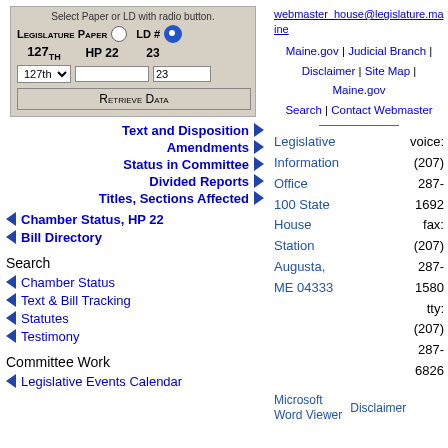[Figure (screenshot): Web form with Legislature Paper and LD# radio buttons, dropdowns, and Retrieve Data button. Shows 127th Legislature, HP 22, LD 23.]
webmaster_house@legislature.maine
Maine.gov | Judicial Branch | Disclaimer | Site Map | Maine.gov Search | Contact Webmaster
Text and Disposition ▶
Amendments ▶
Status in Committee ▶
Divided Reports ▶
Titles, Sections Affected ▶
voice: (207) 287-1692
fax: (207) 287-1580
tty: (207) 287-6826
Legislative Information Office
100 State House Station
Augusta, ME 04333
◀ Chamber Status, HP 22
◀ Bill Directory
Search
◀ Chamber Status
◀ Text & Bill Tracking
◀ Statutes
◀ Testimony
Committee Work
◀ Legislative Events Calendar
Microsoft Word Viewer
Disclaimer